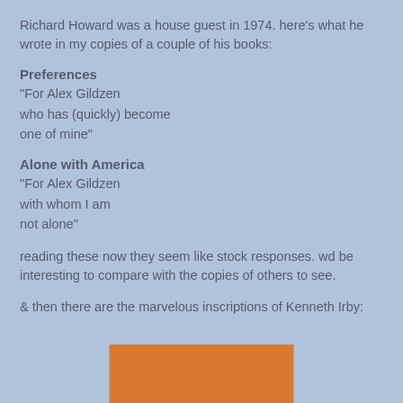Richard Howard was a house guest in 1974. here's what he wrote in my copies of a couple of his books:
Preferences
"For Alex Gildzen
who has (quickly) become
one of mine"
Alone with America
"For Alex Gildzen
with whom I am
not alone"
reading these now they seem like stock responses. wd be interesting to compare with the copies of others to see.
& then there are the marvelous inscriptions of Kenneth Irby:
[Figure (photo): Orange/brown rectangular image partially visible at the bottom of the page]